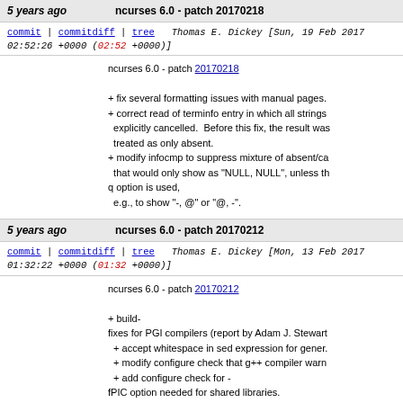5 years ago   ncurses 6.0 - patch 20170218
commit | commitdiff | tree   Thomas E. Dickey [Sun, 19 Feb 2017 02:52:26 +0000 (02:52 +0000)]
ncurses 6.0 - patch 20170218

+ fix several formatting issues with manual pages.
+ correct read of terminfo entry in which all strings explicitly cancelled.  Before this fix, the result was treated as only absent.
+ modify infocmp to suppress mixture of absent/ca that would only show as "NULL, NULL", unless th q option is used,
  e.g., to show "-, @" or "@, -".
5 years ago   ncurses 6.0 - patch 20170212
commit | commitdiff | tree   Thomas E. Dickey [Mon, 13 Feb 2017 01:32:22 +0000 (01:32 +0000)]
ncurses 6.0 - patch 20170212

+ build-
fixes for PGI compilers (report by Adam J. Stewart
  + accept whitespace in sed expression for gener.
  + modify configure check that g++ compiler warn
  + add configure check for -
fPIC option needed for shared libraries.